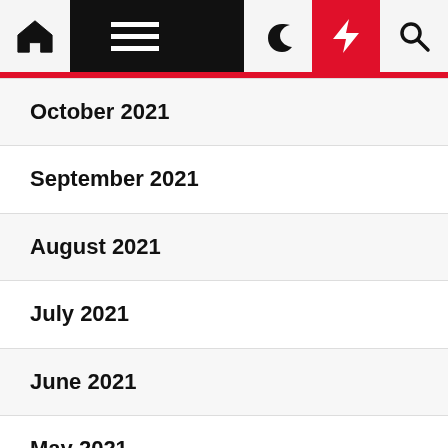Navigation bar with home, menu, moon, bolt, and search icons
October 2021
September 2021
August 2021
July 2021
June 2021
May 2021
April 2021
March 2021
February 2021
January 2021